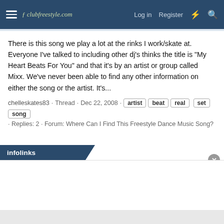clubfreestyle.com  Log in  Register
There is this song we play a lot at the rinks I work/skate at. Everyone I've talked to including other dj's thinks the title is "My Heart Beats For You" and that it's by an artist or group called Mixx. We've never been able to find any other information on either the song or the artist. It's...
chelleskates83 · Thread · Dec 22, 2008 · artist beat real set song · Replies: 2 · Forum: Where Can I Find This Freestyle Dance Music Song?